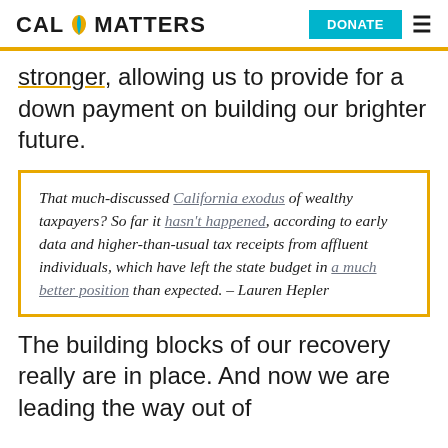CAL MATTERS | DONATE
stronger, allowing us to provide for a down payment on building our brighter future.
That much-discussed California exodus of wealthy taxpayers? So far it hasn't happened, according to early data and higher-than-usual tax receipts from affluent individuals, which have left the state budget in a much better position than expected. – Lauren Hepler
The building blocks of our recovery really are in place. And now we are leading the way out of